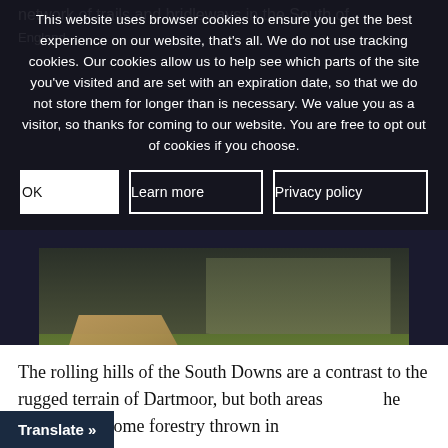network of trails and bridleways in the South of England.
This website uses browser cookies to ensure you get the best experience on our website, that's all. We do not use tracking cookies. Our cookies allow us to help see which parts of the site you've visited and are set with an expiration date, so that we do not store them for longer than is necessary. We value you as a visitor, so thanks for coming to our website. You are free to opt out of cookies if you choose.
OK  Learn more  Privacy policy
[Figure (photo): A mountain bike (red) leaning against a wooden fence post beside a dirt trail path, with green grass in the background and a dark sky overhead.]
The rolling hills of the South Downs are a contrast to the rugged terrain of Dartmoor, but both areas [offer] the riding, with some forestry thrown in
Translate »